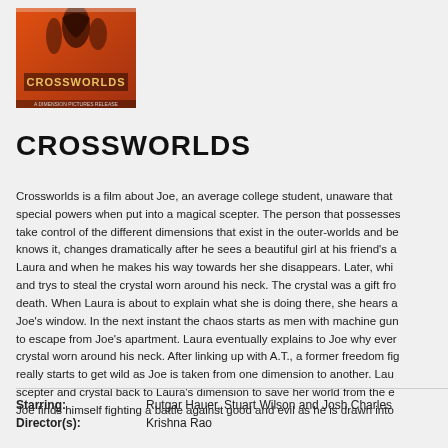[Figure (photo): Movie poster for Crossworlds showing orange/red background with silhouette figures and the text CROSSWORLDS]
CROSSWORLDS
Crossworlds is a film about Joe, an average college student, unaware that special powers when put into a magical scepter. The person that possesses take control of the different dimensions that exist in the outer-worlds and be knows it, changes dramatically after he sees a beautiful girl at his friend's a Laura and when he makes his way towards her she disappears. Later, whi and trys to steal the crystal worn around his neck. The crystal was a gift fro death. When Laura is about to explain what she is doing there, she hears a Joe's window. In the next instant the chaos starts as men with machine gun to escape from Joe's apartment. Laura eventually explains to Joe why ever crystal worn around his neck. After linking up with A.T., a former freedom fig really starts to get wild as Joe is taken from one dimension to another. Lau scepter and crystal back to Laura's dimension to save her world from the e Joe finds himself fighting a battle against good and evil as he is drawn into
Starring: Rutgar Hauer, Stuart Wilson and Josh Charles
Director(s): Krishna Rao